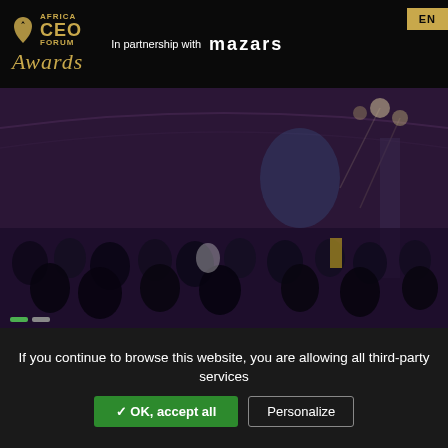[Figure (logo): Africa CEO Forum Awards logo in gold with 'In partnership with mazars' text on black header bar]
[Figure (photo): Dark-toned photo of a large indoor event/conference venue with crowd of seated attendees, dimly lit with purple/dark tones]
If you continue to browse this website, you are allowing all third-party services
✓ OK, accept all
Personalize